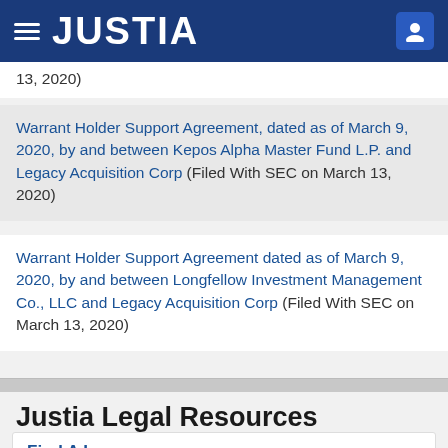JUSTIA
13, 2020)
Warrant Holder Support Agreement, dated as of March 9, 2020, by and between Kepos Alpha Master Fund L.P. and Legacy Acquisition Corp (Filed With SEC on March 13, 2020)
Warrant Holder Support Agreement dated as of March 9, 2020, by and between Longfellow Investment Management Co., LLC and Legacy Acquisition Corp (Filed With SEC on March 13, 2020)
Justia Legal Resources
Find A Lawyer